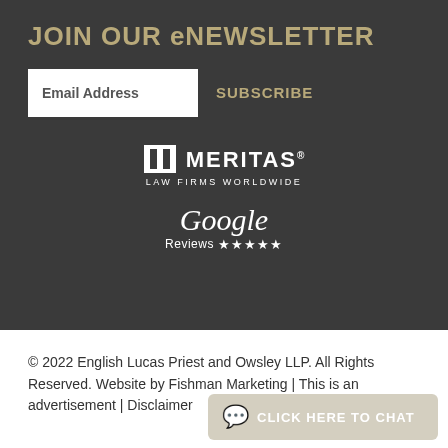JOIN OUR eNEWSLETTER
Email Address
SUBSCRIBE
[Figure (logo): Meritas Law Firms Worldwide logo — white column/arch icon with MERITAS® text and LAW FIRMS WORLDWIDE subtitle]
[Figure (logo): Google Reviews with five stars logo in white]
© 2022 English Lucas Priest and Owsley LLP. All Rights Reserved. Website by Fishman Marketing | This is an advertisement | Disclaimer
CLICK HERE TO CHAT